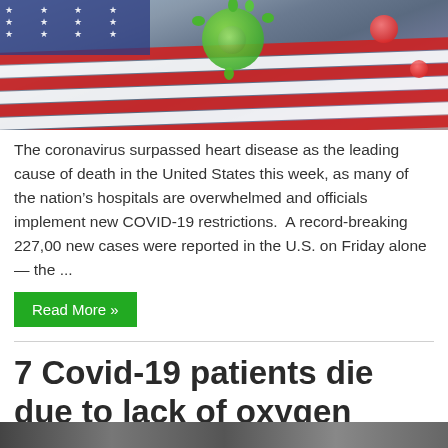[Figure (photo): Coronavirus illustration over American flag with red blood cells and virus particles on dark background]
The coronavirus surpassed heart disease as the leading cause of death in the United States this week, as many of the nation's hospitals are overwhelmed and officials implement new COVID-19 restrictions.  A record-breaking 227,00 new cases were reported in the U.S. on Friday alone — the ...
Read More »
7 Covid-19 patients die due to lack of oxygen Cylinder in Pakistan's Hospital
December 6, 2020   Comments Off   645 Views
[Figure (photo): Bottom partial image cut off]